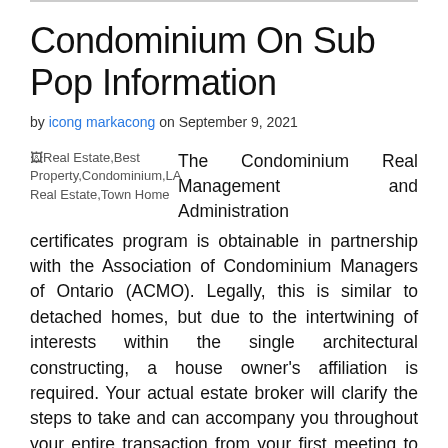Condominium On Sub Pop Information
by icong markacong on September 9, 2021
[Figure (photo): Broken image placeholder showing: Real Estate,Best Property,Condominium,LA Real Estate,Town Home]
The Condominium Real Management and Administration certificates program is obtainable in partnership with the Association of Condominium Managers of Ontario (ACMO). Legally, this is similar to detached homes, but due to the intertwining of interests within the single architectural constructing, a house owner's affiliation is required. Your actual estate broker will clarify the steps to take and can accompany you throughout your entire transaction from your first meeting to the final